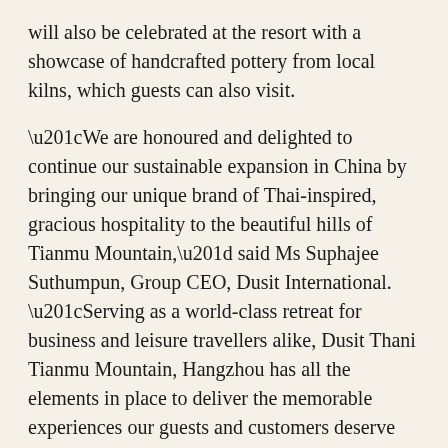will also be celebrated at the resort with a showcase of handcrafted pottery from local kilns, which guests can also visit.
“We are honoured and delighted to continue our sustainable expansion in China by bringing our unique brand of Thai-inspired, gracious hospitality to the beautiful hills of Tianmu Mountain,” said Ms Suphajee Suthumpun, Group CEO, Dusit International. “Serving as a world-class retreat for business and leisure travellers alike, Dusit Thani Tianmu Mountain, Hangzhou has all the elements in place to deliver the memorable experiences our guests and customers deserve while uniquely linking them with nature. We look forward to shaping the resort into a must-visit destination that offers a luxurious gateway to this magnificent area while bringing enduring value to